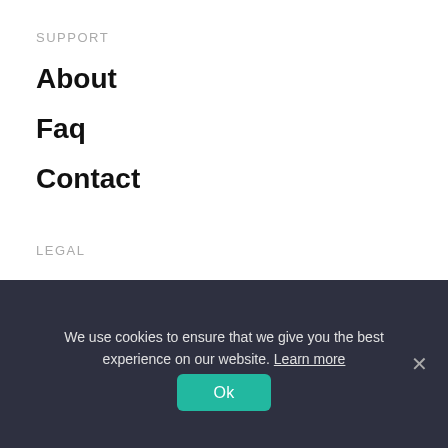SUPPORT
About
Faq
Contact
LEGAL
License
Privacy Policy
We use cookies to ensure that we give you the best experience on our website. Learn more
Ok